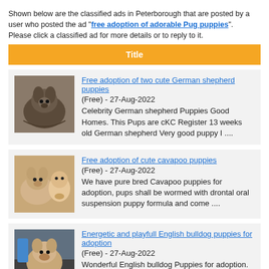Shown below are the classified ads in Peterborough that are posted by a user who posted the ad "free adoption of adorable Pug puppies". Please click a classified ad for more details or to reply to it.
Title
[Figure (photo): Photo of German shepherd puppies]
Free adoption of two cute German shepherd puppies
(Free) - 27-Aug-2022
Celebrity German shepherd Puppies Good Homes. This Pups are cKC Register 13 weeks old German shepherd Very good puppy I ....
[Figure (photo): Photo of Cavapoo puppies]
Free adoption of cute cavapoo puppies
(Free) - 27-Aug-2022
We have pure bred Cavapoo puppies for adoption, pups shall be wormed with drontal oral suspension puppy formula and come ....
[Figure (photo): Photo of English bulldog puppy]
Energetic and playfull English bulldog puppies for adoption
(Free) - 27-Aug-2022
Wonderful English bulldog Puppies for adoption. These puppies are super cute. They are socialized and very loving and pl ....